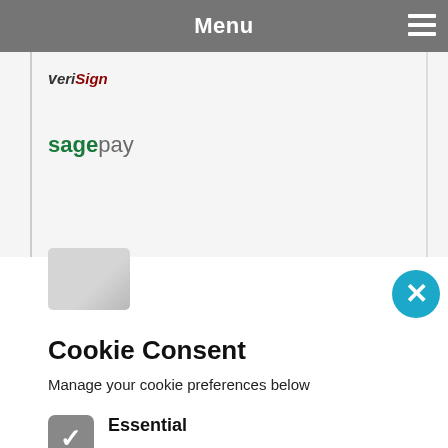Menu
[Figure (logo): VeriSign logo]
[Figure (logo): SagePay logo]
Cookie Consent
Manage your cookie preferences below
Essential — These cookies are essential for the website to run. They allow you to perform such tasks as logging in, adding items to your cart and remembering your cookie consent. They do not pass any information to third parties.
Analytics — We use third-party analytics to let us know how well our website is performing.